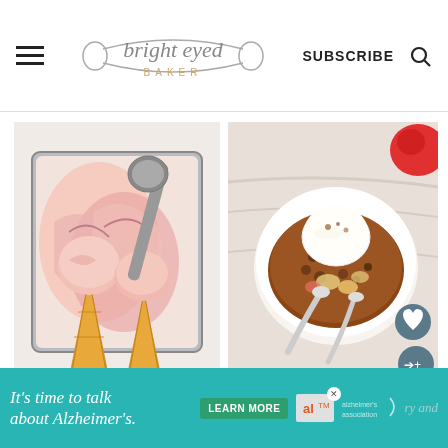bright eyed BAKER — SUBSCRIBE
[Figure (photo): Two ice cream cones with scoops of strawberry/berry ice cream placed in a metal loaf pan, with an ice cream scoop tool, overhead view]
[Figure (photo): A bowl of apple crisp dessert topped with a scoop of vanilla ice cream with spoons, overhead view, with a red apple partially visible]
[Figure (other): Advertisement banner: teal background with text 'It's time to talk about Alzheimer's.' with a LEARN MORE button and Alzheimer's Association logo]